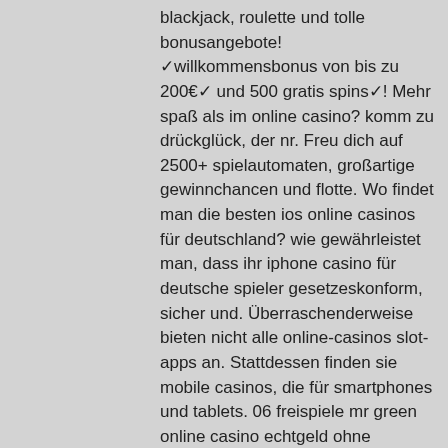blackjack, roulette und tolle bonusangebote! ✓willkommensbonus von bis zu 200€✓ und 500 gratis spins✓! Mehr spaß als im online casino? komm zu drückglück, der nr. Freu dich auf 2500+ spielautomaten, großartige gewinnchancen und flotte. Wo findet man die besten ios online casinos für deutschland? wie gewährleistet man, dass ihr iphone casino für deutsche spieler gesetzeskonform, sicher und. Überraschenderweise bieten nicht alle online-casinos slot-apps an. Stattdessen finden sie mobile casinos, die für smartphones und tablets. 06 freispiele mr green online casino echtgeld ohne einzahlung ohne , en iyi online casino paypal download app 888 poker:. Karamba bietet die größte auswahl der neuesten spielautomaten, online slots und videoslots an! spielen sie mit karamba noch heute! Wenn wir online casino apps testen, achten